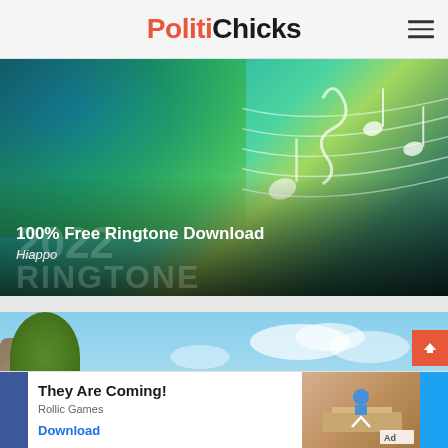PolitiChicks
[Figure (photo): Advertisement banner for 100% Free Ringtone Download by Hiappo. Colorful watercolor music-themed background with musical notes and staff lines on teal/green gradient.]
100% Free Ringtone Download
Hiappo
[Figure (photo): Outdoor scene with stone wall covered in foliage against a blue sky with clouds.]
[Figure (photo): Bottom advertisement banner: They Are Coming! by Rollic Games with Download link and Ad label.]
They Are Coming!
Rollic Games
Download